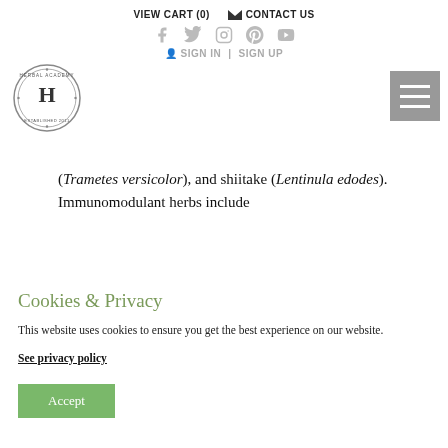VIEW CART (0)   CONTACT US
[Figure (illustration): Social media icons: Facebook, Twitter, Instagram, Pinterest, YouTube in light gray]
SIGN IN  |  SIGN UP
[Figure (logo): Herbal Academy International School circular stamp logo with letter H in center, Established 2011]
[Figure (illustration): Hamburger menu icon (three horizontal lines) on gray background]
(Trametes versicolor), and shiitake (Lentinula edodes). Immunomodulant herbs include
Cookies & Privacy
This website uses cookies to ensure you get the best experience on our website.
See privacy policy
Accept
[Figure (photo): Partial image of mushrooms/herbs at bottom of page]